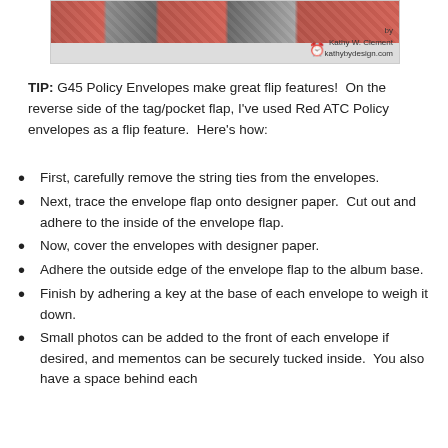[Figure (photo): Decorative photo strip at top of page showing a crafted album or scrapbook page with striped and colorful elements, with attribution to Kathy W. Clement, kathybydesign.com]
TIP: G45 Policy Envelopes make great flip features!  On the reverse side of the tag/pocket flap, I've used Red ATC Policy envelopes as a flip feature.  Here's how:
First, carefully remove the string ties from the envelopes.
Next, trace the envelope flap onto designer paper.  Cut out and adhere to the inside of the envelope flap.
Now, cover the envelopes with designer paper.
Adhere the outside edge of the envelope flap to the album base.
Finish by adhering a key at the base of each envelope to weigh it down.
Small photos can be added to the front of each envelope if desired, and mementos can be securely tucked inside.  You also have a space behind each